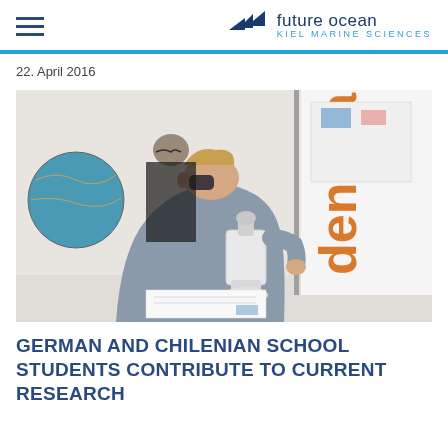future ocean KIEL MARINE SCIENCES
22. April 2016
[Figure (photo): A young male student wearing a grey hoodie looks through a microscope on a white lab table. Behind him, another student stands near a globe. On the right side, a white banner with orange text reading 'denk:lab' is visible. Scientific diagrams are pinned to a board in the background.]
GERMAN AND CHILENIAN SCHOOL STUDENTS CONTRIBUTE TO CURRENT RESEARCH